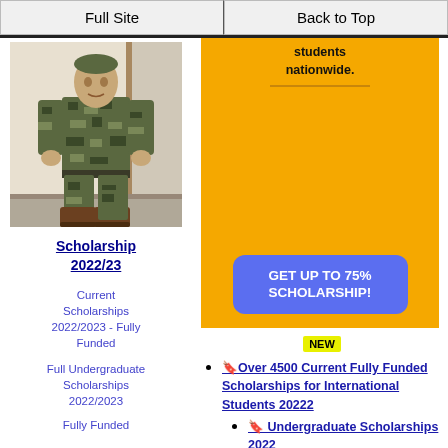Full Site | Back to Top
[Figure (photo): Person in military camouflage uniform standing indoors near a doorway]
Scholarship 2022/23
Current Scholarships 2022/2023 - Fully Funded
Full Undergraduate Scholarships 2022/2023
Fully Funded
[Figure (infographic): Orange banner advertisement with text about scholarships available to students nationwide and a blue button saying GET UP TO 75% SCHOLARSHIP!]
NEW
🔖Over 4500 Current Fully Funded Scholarships for International Students 20222
🔖 Undergraduate Scholarships 2022
🔖 Masters Scholarships 2022